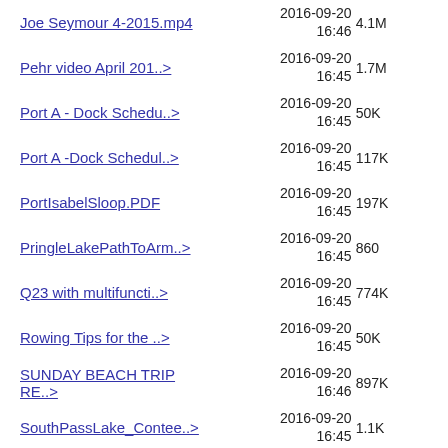Joe Seymour 4-2015.mp4  2016-09-20 16:46  4.1M
Pehr video April 201..>  2016-09-20 16:45  1.7M
Port A - Dock Schedu..>  2016-09-20 16:45  50K
Port A -Dock Schedul..>  2016-09-20 16:45  117K
PortIsabelSloop.PDF  2016-09-20 16:45  197K
PringleLakePathToArm..>  2016-09-20 16:45  860
Q23 with multifuncti..>  2016-09-20 16:45  774K
Rowing Tips for the ..>  2016-09-20 16:45  50K
SUNDAY BEACH TRIP RE..>  2016-09-20 16:46  897K
SouthPassLake_Contee..>  2016-09-20 16:45  1.1K
TX200-2016 - Day 4 -..>  2016-09-20 16:48  5.6M